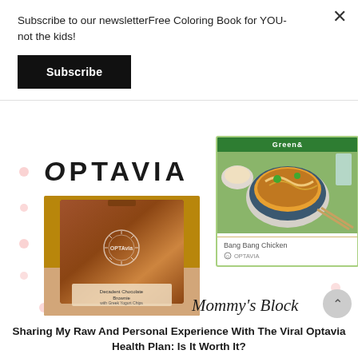Subscribe to our newsletterFree Coloring Book for YOU- not the kids!
Subscribe
[Figure (photo): OPTAVIA logo and product images: a brown foil packet labeled 'Decadent Chocolate Brownie' with OPTAVIA branding, and a card showing Bang Bang Chicken dish with Greens& branding and OPTAVIA logo]
Mommy's Block
Sharing My Raw And Personal Experience With The Viral Optavia Health Plan: Is It Worth It?